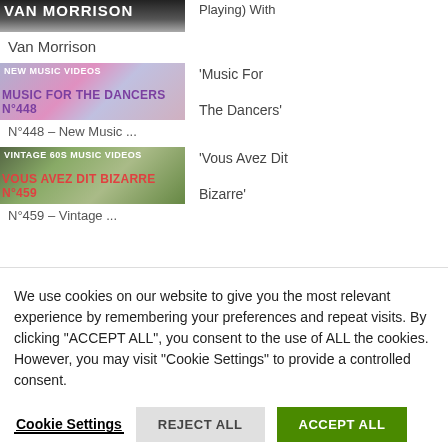[Figure (screenshot): Partial top thumbnail showing Van Morrison text on dark background, with side text 'Playing) With']
Van Morrison
[Figure (screenshot): Thumbnail with NEW MUSIC VIDEOS text and Music For The Dancers N°448 in purple, with side text 'Music For The Dancers']
N°448 – New Music ...
[Figure (screenshot): Thumbnail with VINTAGE 60S MUSIC VIDEOS text and Vous Avez Dit Bizarre N°459 in red, with side text 'Vous Avez Dit Bizarre']
N°459 – Vintage ...
We use cookies on our website to give you the most relevant experience by remembering your preferences and repeat visits. By clicking "ACCEPT ALL", you consent to the use of ALL the cookies. However, you may visit "Cookie Settings" to provide a controlled consent.